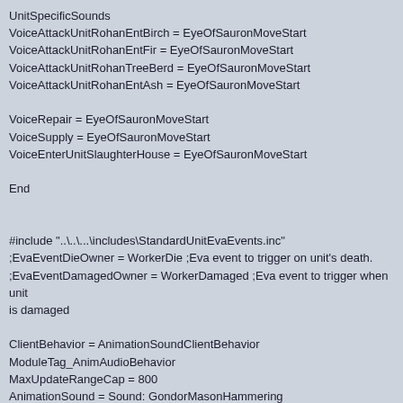UnitSpecificSounds
VoiceAttackUnitRohanEntBirch = EyeOfSauronMoveStart
VoiceAttackUnitRohanEntFir = EyeOfSauronMoveStart
VoiceAttackUnitRohanTreeBerd = EyeOfSauronMoveStart
VoiceAttackUnitRohanEntAsh = EyeOfSauronMoveStart

VoiceRepair = EyeOfSauronMoveStart
VoiceSupply = EyeOfSauronMoveStart
VoiceEnterUnitSlaughterHouse = EyeOfSauronMoveStart

End


#include "..\..\..\includes\StandardUnitEvaEvents.inc"
;EvaEventDieOwner = WorkerDie ;Eva event to trigger on unit's death.
;EvaEventDamagedOwner = WorkerDamaged ;Eva event to trigger when unit is damaged

ClientBehavior = AnimationSoundClientBehavior
ModuleTag_AnimAudioBehavior
MaxUpdateRangeCap = 800
AnimationSound = Sound: GondorMasonHammering
Animation:GUWorker_SKL.GUWorker_WRKA Frames: 4
End



; *** ENGINEERING Parameters ***

RadarPriority = UNIT